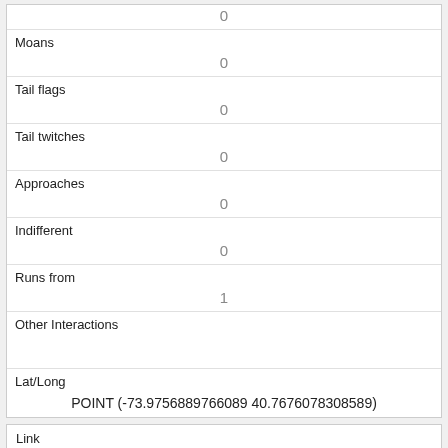| 0 |
| Moans | 0 |
| Tail flags | 0 |
| Tail twitches | 0 |
| Approaches | 0 |
| Indifferent | 0 |
| Runs from | 1 |
| Other Interactions |  |
| Lat/Long | POINT (-73.9756889766089 40.7676078308589) |
| Link | 935 |
| rowid |  |